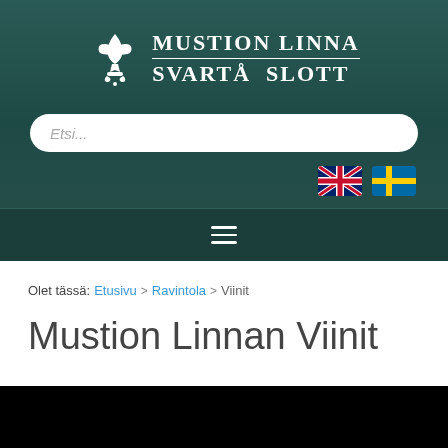[Figure (logo): Mustion Linna Svartå Slott logo with fleur-de-lis emblem and two-line text]
Etsi...
[Figure (illustration): UK flag and Swedish flag icons for language selection]
[Figure (illustration): Hamburger menu icon (three horizontal lines)]
Olet tässä: Etusivu > Ravintola > Viinit
Mustion Linnan Viinit
[Figure (photo): Black image area (partially visible at bottom of page)]